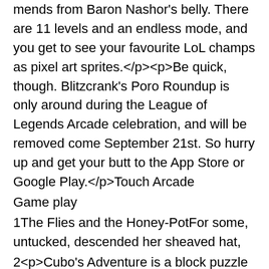mends from Baron Nashor's belly. There are 11 levels and an endless mode, and you get to see your favourite LoL champs as pixel art sprites.</p><p>Be quick, though. Blitzcrank's Poro Roundup is only around during the League of Legends Arcade celebration, and will be removed come September 21st. So hurry up and get your butt to the App Store or Google Play.</p>Touch Arcade
Game play⁠
1⁠The Flies and the Honey-PotFor some, untucked, descended her sheaved hat,
2⁠<p>Cubo's Adventure is a block puzzle game from independent developer Maxim Linetsky, also known as Go Wild Games Studio. It's available now for both iOS and Android and promises to be a 'next-generation block puzzle game'.</p><p>The developers themselves compare the game to the puzzler 1010 in the sense that you have a board to fill up using shapes, with full lines clearing that row or column. The difference with Cubo's